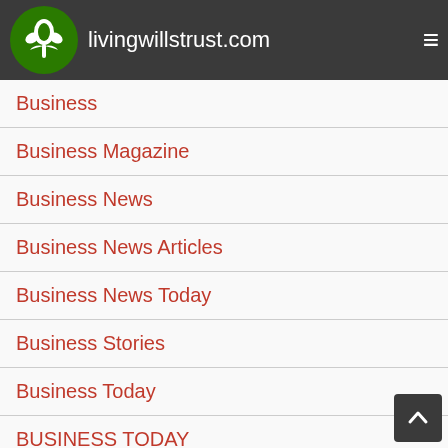livingwillstrust.com
Categories
Business
Business Magazine
Business News
Business News Articles
Business News Today
Business Stories
Business Today
BUSINESS TODAY
Business Website
Finance
FINANCE TOOLS